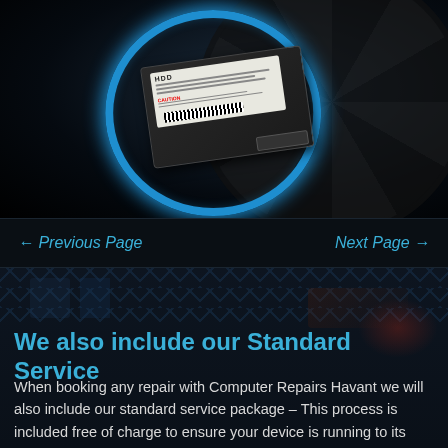[Figure (photo): Dark background photo showing a hard disk drive (HDD) with a glowing blue circular ring around it, set against a dark fan/motherboard background]
← Previous Page
Next Page →
[Figure (photo): Dark background with X-pattern overlay and gaming controller visible, serving as background for the text section]
We also include our Standard Service
When booking any repair with Computer Repairs Havant we will also include our standard service package – This process is included free of charge to ensure your device is running to its best ability. Tasks